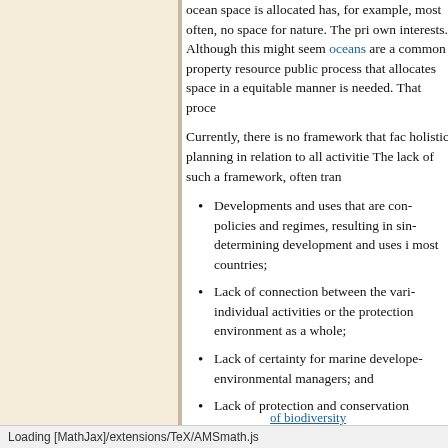ocean space is allocated has, for example, most often, no space for nature. The private own interests. Although this might seem oceans are a common property resource public process that allocates space in a equitable manner is needed. That proce...
Currently, there is no framework that facilitates holistic planning in relation to all activities. The lack of such a framework, often tran...
Developments and uses that are controlled by policies and regimes, resulting in single sector determining development and uses in most countries;
Lack of connection between the various individual activities or the protection environment as a whole;
Lack of certainty for marine developers environmental managers; and
Lack of protection and conservation of biodiversity
Loading [MathJax]/extensions/TeX/AMSmath.js